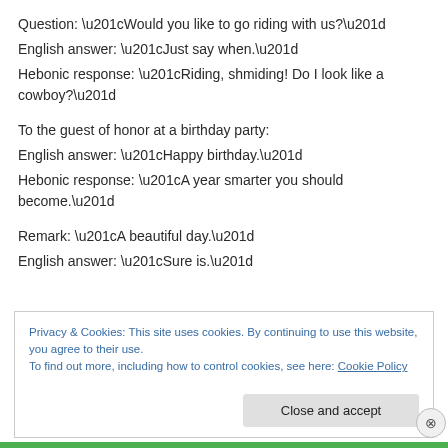Question: “Would you like to go riding with us?”
English answer: “Just say when.”
Hebonic response: “Riding, shmiding! Do I look like a cowboy?”
To the guest of honor at a birthday party:
English answer: “Happy birthday.”
Hebonic response: “A year smarter you should become.”
Remark: “A beautiful day.”
English answer: “Sure is.”
Privacy & Cookies: This site uses cookies. By continuing to use this website, you agree to their use.
To find out more, including how to control cookies, see here: Cookie Policy